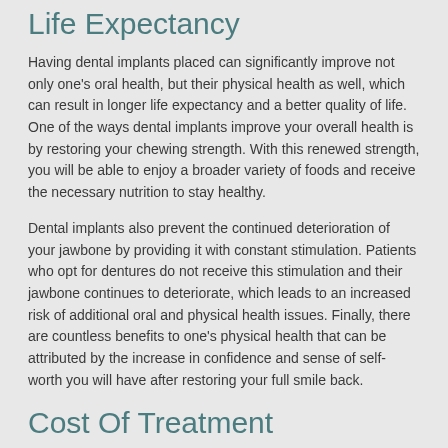Life Expectancy
Having dental implants placed can significantly improve not only one's oral health, but their physical health as well, which can result in longer life expectancy and a better quality of life. One of the ways dental implants improve your overall health is by restoring your chewing strength. With this renewed strength, you will be able to enjoy a broader variety of foods and receive the necessary nutrition to stay healthy.
Dental implants also prevent the continued deterioration of your jawbone by providing it with constant stimulation. Patients who opt for dentures do not receive this stimulation and their jawbone continues to deteriorate, which leads to an increased risk of additional oral and physical health issues. Finally, there are countless benefits to one's physical health that can be attributed by the increase in confidence and sense of self-worth you will have after restoring your full smile back.
Cost Of Treatment